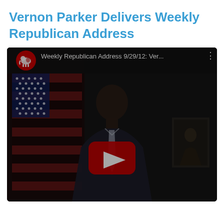Vernon Parker Delivers Weekly Republican Address
[Figure (screenshot): YouTube video embed showing Vernon Parker delivering the Weekly Republican Address dated 9/29/12. The thumbnail shows a man in a dark suit with a light tie seated in front of an American flag. The YouTube player interface is visible with a red play button in the center and the video title 'Weekly Republican Address 9/29/12: Ver...' in the top bar along with the Republican elephant logo on a red circle.]